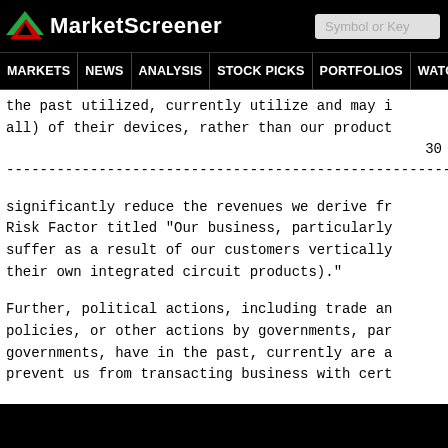MarketScreener — MARKETS NEWS ANALYSIS STOCK PICKS PORTFOLIOS WATCHLI
the past utilized, currently utilize and may i all) of their devices, rather than our product
30
------------------------------------------------------------------------
significantly reduce the revenues we derive fr Risk Factor titled "Our business, particularly suffer as a result of our customers vertically their own integrated circuit products)."
Further, political actions, including trade an policies, or other actions by governments, par governments, have in the past, currently are a prevent us from transacting business with cert